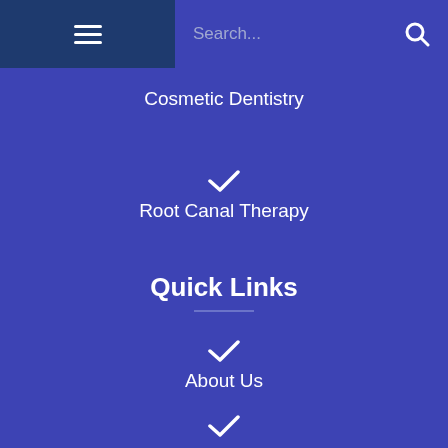☰  Search...  🔍
Cosmetic Dentistry
Root Canal Therapy
Quick Links
About Us
Contact Us